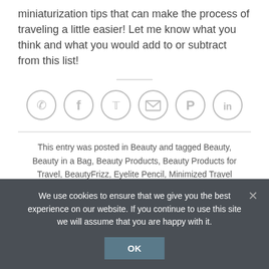miniaturization tips that can make the process of traveling a little easier!  Let me know what you think and what you would add to or subtract from this list!
[Figure (other): Social sharing icons: WhatsApp, Facebook, Twitter, Email, Pinterest, LinkedIn — all circular outline style in light grey]
This entry was posted in Beauty and tagged Beauty, Beauty in a Bag, Beauty Products, Beauty Products for Travel, BeautyFrizz, Eyelite Pencil, Minimized Travel Bags, Travel Bags, Travel Beauty.
We use cookies to ensure that we give you the best experience on our website. If you continue to use this site we will assume that you are happy with it.